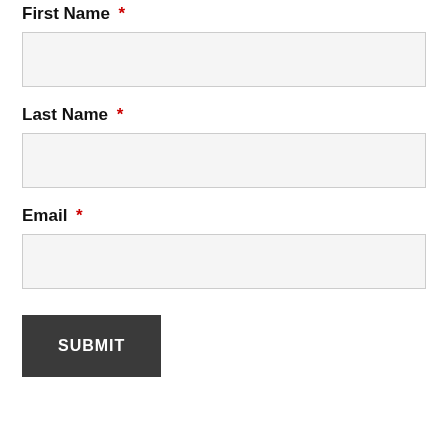First Name *
Last Name *
Email *
SUBMIT